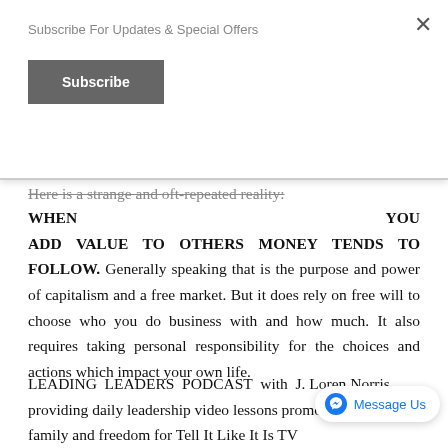Subscribe For Updates & Special Offers
Here is a strange and oft-repeated reality: WHEN YOU ADD VALUE TO OTHERS MONEY TENDS TO FOLLOW. Generally speaking that is the purpose and power of capitalism and a free market. But it does rely on free will to choose who you do business with and how much. It also requires taking personal responsibility for the choices and actions which impact your own life.
LEADING LEADERS PODCAST with J. Loren Norris providing daily leadership video lessons promoting family and freedom for Tell It Like It Is TV